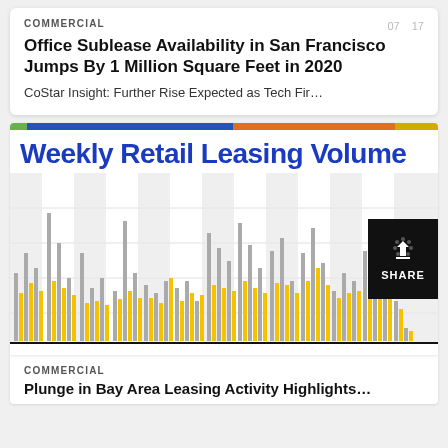COMMERCIAL
Office Sublease Availability in San Francisco Jumps By 1 Million Square Feet in 2020
CoStar Insight: Further Rise Expected as Tech Fir...
[Figure (bar-chart): Bar chart showing weekly retail leasing volume over time with yellow and gray bars. Gray shaded column bands visible in background. Values not individually labeled.]
COMMERCIAL
Plunge in Bay Area Leasing Activity Highlights...